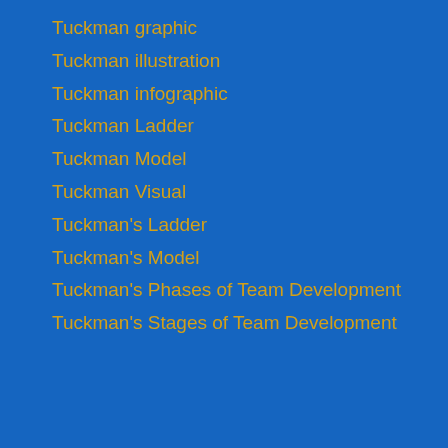Tuckman graphic
Tuckman illustration
Tuckman infographic
Tuckman Ladder
Tuckman Model
Tuckman Visual
Tuckman's Ladder
Tuckman's Model
Tuckman's Phases of Team Development
Tuckman's Stages of Team Development